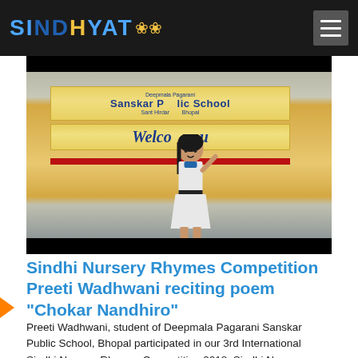SINDHYAT
[Figure (photo): A young girl in white school uniform reciting a poem at Deepmala Pagarani Sanskar Public School, Bhopal. She stands in front of a yellow banner that reads 'Deepmala Pagarani Sanskar Public School, Sant Hirdaram Nagar, Bhopal' with a Welcome banner below.]
Sindhi Nursery Rhymes Competition Preeti Wadhwani reciting poem "Chokar Nandhiro"
Preeti Wadhwani, student of Deepmala Pagarani Sanskar Public School, Bhopal participated in our 3rd International Sindhi Nursery Rhymes Competition 2018. Sindhi Nursery Rhymes competition is for children to learn Sindhi speaking. This was